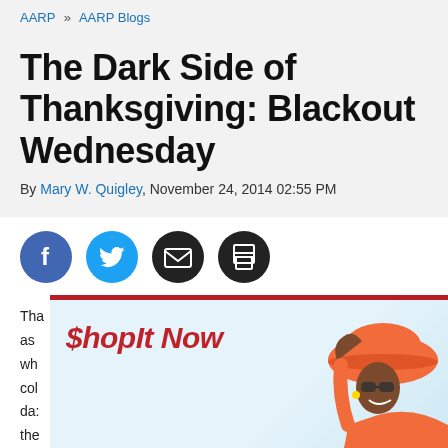AARP » AARP Blogs
The Dark Side of Thanksgiving: Blackout Wednesday
By Mary W. Quigley, November 24, 2014 02:55 PM
[Figure (infographic): Social sharing icons: Facebook (blue circle), Twitter (cyan circle), email/envelope (dark circle), print (dark circle)]
[Figure (infographic): Advertisement overlay: '$hopIt Now' in red italic bold text over a light blue background with a red top border. A woman in an orange hat and sunglasses is visible on the right side.]
Tha... ght
as ... n
wh
col
da: ...ile
the